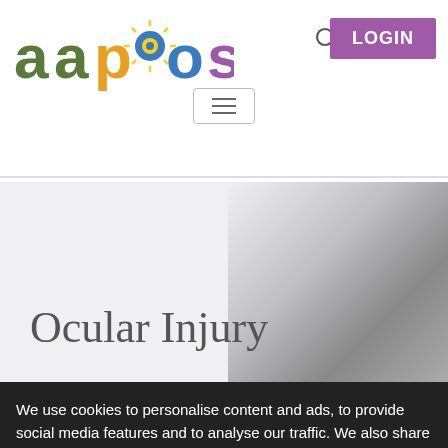[Figure (logo): AAPOS colorful logo with sunburst between 'p' and 'o']
[Figure (screenshot): Search icon (magnifying glass)]
LOGIN
[Figure (screenshot): Hamburger menu button with three horizontal lines]
Ocular Injury
We use cookies to personalise content and ads, to provide social media features and to analyse our traffic. We also share information about your use of our site with our social media, advertising and analytics partners.  Learn more
Accept Cookies